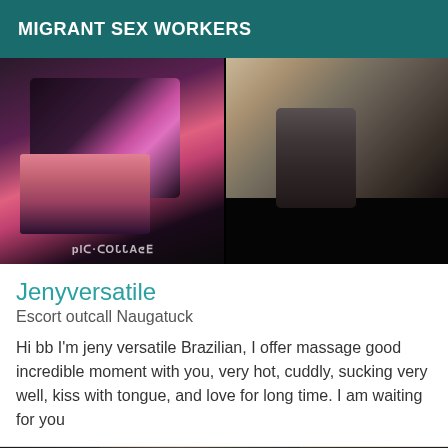MIGRANT SEX WORKERS
[Figure (photo): Two photos side by side: left shows a person in dark lace clothing with pink background and mirrored PIC-COLLAGE watermark; right shows a person in dark jacket with buttons showing cleavage area]
Jenyversatile
Escort outcall Naugatuck
Hi bb I'm jeny versatile Brazilian, I offer massage good incredible moment with you, very hot, cuddly, sucking very well, kiss with tongue, and love for long time. I am waiting for you
[Figure (photo): Partial photo of a person against dark background with Online badge in teal]